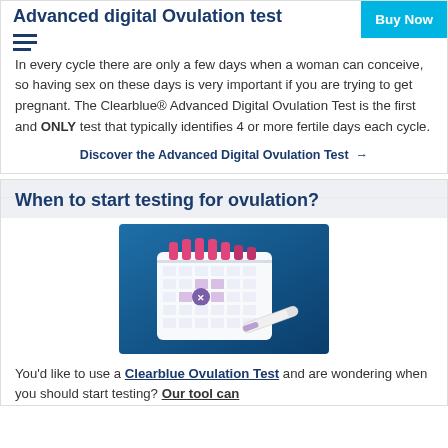Advanced digital Ovulation test
In every cycle there are only a few days when a woman can conceive, so having sex on these days is very important if you are trying to get pregnant. The Clearblue® Advanced Digital Ovulation Test is the first and ONLY test that typically identifies 4 or more fertile days each cycle.
Discover the Advanced Digital Ovulation Test →
When to start testing for ovulation?
[Figure (illustration): A calendar with pink tabs and highlighted dates shown alongside a Clearblue ovulation test stick, on a blue background.]
You'd like to use a Clearblue Ovulation Test and are wondering when you should start testing? Our tool can